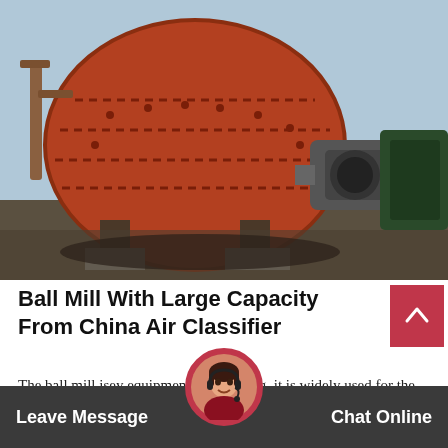[Figure (photo): Industrial ball mill machine with large orange cylindrical drum, worker in white hard hat standing in front, heavy industrial machinery and motor visible to the right, outdoor industrial setting]
Ball Mill With Large Capacity From China Air Classifier
The ball mill isey equipment for grinding, it is widely used for the cement product, new building mate...
Leave Message   Chat Online